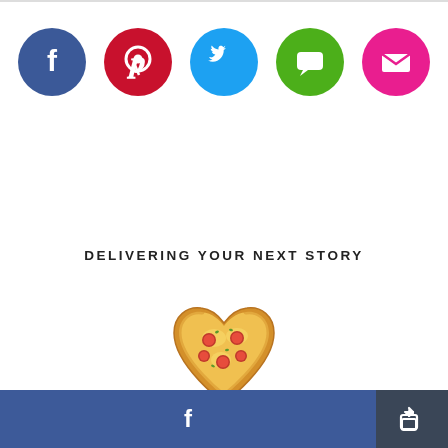[Figure (infographic): Five social media sharing icon circles: Facebook (blue), Pinterest (red), Twitter (light blue), iMessage/SMS (green), Email (pink/magenta)]
DELIVERING YOUR NEXT STORY
[Figure (illustration): Heart-shaped pizza illustration with pepperoni toppings]
[Figure (infographic): Bottom bar with Facebook share button (blue, left) and share/export icon button (dark, right)]